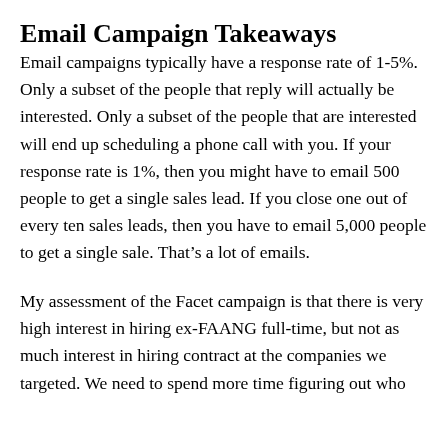Email Campaign Takeaways
Email campaigns typically have a response rate of 1-5%. Only a subset of the people that reply will actually be interested. Only a subset of the people that are interested will end up scheduling a phone call with you. If your response rate is 1%, then you might have to email 500 people to get a single sales lead. If you close one out of every ten sales leads, then you have to email 5,000 people to get a single sale. That’s a lot of emails.
My assessment of the Facet campaign is that there is very high interest in hiring ex-FAANG full-time, but not as much interest in hiring contract at the companies we targeted. We need to spend more time figuring out who